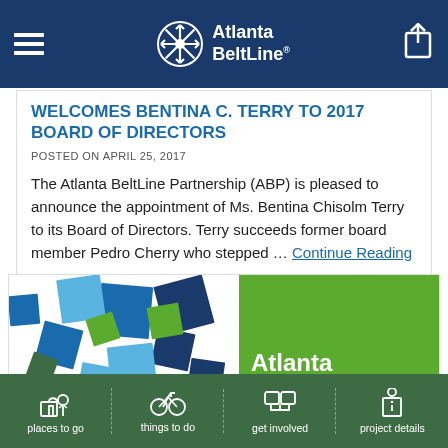Atlanta BeltLine
WELCOMES BENTINA C. TERRY TO 2017 BOARD OF DIRECTORS
POSTED ON APRIL 25, 2017
The Atlanta BeltLine Partnership (ABP) is pleased to announce the appointment of Ms. Bentina Chisolm Terry to its Board of Directors. Terry succeeds former board member Pedro Cherry who stepped … Continue Reading →
[Figure (illustration): Colored squares mosaic on left, green background with Atlanta BeltLine text on right]
places to go  things to do  get involved  project details